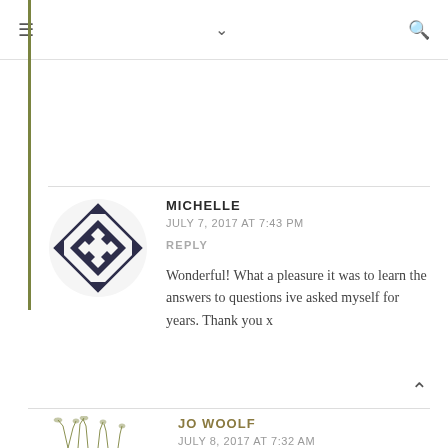≡  ∨  🔍
[Figure (illustration): Geometric diamond-pattern quilt block avatar icon in dark navy/slate color, square rotated 45 degrees with smaller diamonds inside]
MICHELLE
JULY 7, 2017 AT 7:43 PM
REPLY
Wonderful! What a pleasure it was to learn the answers to questions ive asked myself for years. Thank you x
[Figure (illustration): Botanical/wildflower line drawing illustration of grasses and flowers in olive/khaki color]
JO WOOLF
JULY 8, 2017 AT 7:32 AM